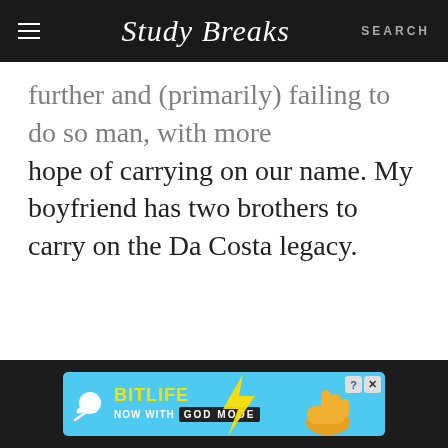Study Breaks — SEARCH
...further and (primarily) failing to do so man, with more hope of carrying on our name. My boyfriend has two brothers to carry on the Da Costa legacy.
[Figure (screenshot): BitLife advertisement banner: 'BitLife NOW WITH GOD MODE' on a blue background with a yellow hand pointing right and a sperm icon, with close and info buttons.]